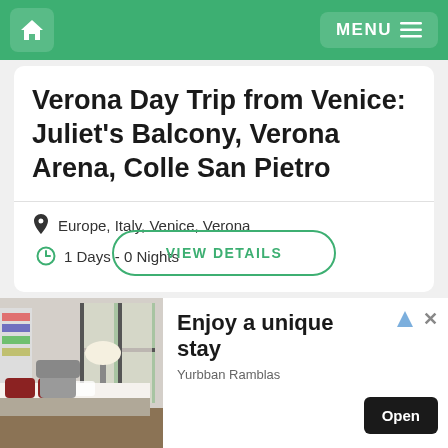Home | MENU
Verona Day Trip from Venice: Juliet's Balcony, Verona Arena, Colle San Pietro
Europe, Italy, Venice, Verona
1 Days - 0 Nights
VIEW DETAILS
[Figure (photo): Hotel room with dark red pillows on white bed, grey armchair, tall windows with curtains, bookshelf on left]
Enjoy a unique stay
Yurbban Ramblas
Open